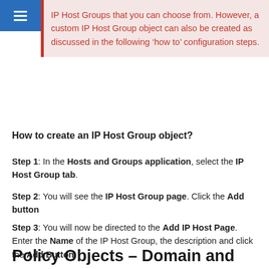IP Host Groups that you can choose from. However, a custom IP Host Group object can also be created as discussed in the following 'how to' configuration steps.
How to create an IP Host Group object?
Step 1: In the Hosts and Groups application, select the IP Host Group tab.
Step 2: You will see the IP Host Group page. Click the Add button
Step 3: You will now be directed to the Add IP Host Page. Enter the Name of the IP Host Group, the description and click the Add Button.
Policy Objects – Domain and